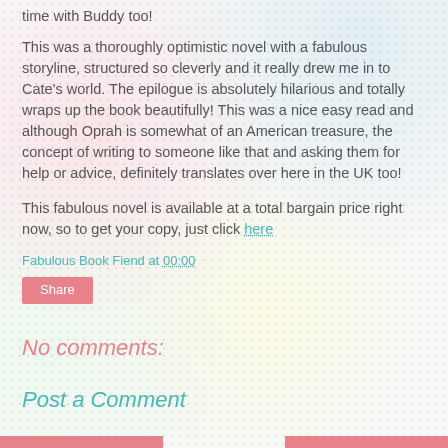time with Buddy too!
This was a thoroughly optimistic novel with a fabulous storyline, structured so cleverly and it really drew me in to Cate's world. The epilogue is absolutely hilarious and totally wraps up the book beautifully! This was a nice easy read and although Oprah is somewhat of an American treasure, the concept of writing to someone like that and asking them for help or advice, definitely translates over here in the UK too!
This fabulous novel is available at a total bargain price right now, so to get your copy, just click here
Fabulous Book Fiend at 00:00
Share
No comments:
Post a Comment